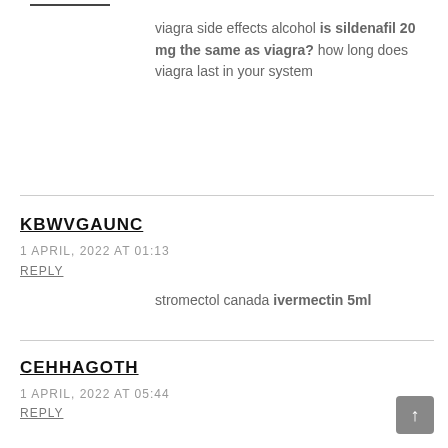viagra side effects alcohol is sildenafil 20 mg the same as viagra? how long does viagra last in your system
KBWVGAUNC
1 APRIL, 2022 AT 01:13
REPLY
stromectol canada ivermectin 5ml
CEHHAGOTH
1 APRIL, 2022 AT 05:44
REPLY
ivermectin 50mg/ml ivermectin 0.1
RKGJDRUMB
1 APRIL, 2022 AT 10:44